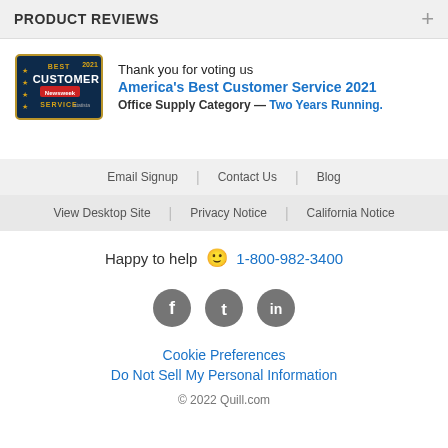PRODUCT REVIEWS
[Figure (logo): Best Customer Service 2021 award badge with Newsweek logo]
Thank you for voting us America's Best Customer Service 2021 Office Supply Category — Two Years Running.
Email Signup | Contact Us | Blog
View Desktop Site | Privacy Notice | California Notice
Happy to help 🙂 1-800-982-3400
[Figure (illustration): Facebook, Twitter, and LinkedIn social media icons]
Cookie Preferences
Do Not Sell My Personal Information
© 2022 Quill.com